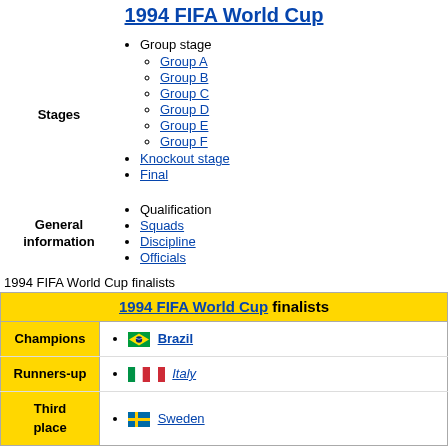1994 FIFA World Cup
Group stage
Group A
Group B
Group C
Group D
Group E
Group F
Knockout stage
Final
Qualification
Squads
Discipline
Officials
1994 FIFA World Cup finalists
|  | 1994 FIFA World Cup finalists |
| --- | --- |
| Champions | Brazil |
| Runners-up | Italy |
| Third place | Sweden |